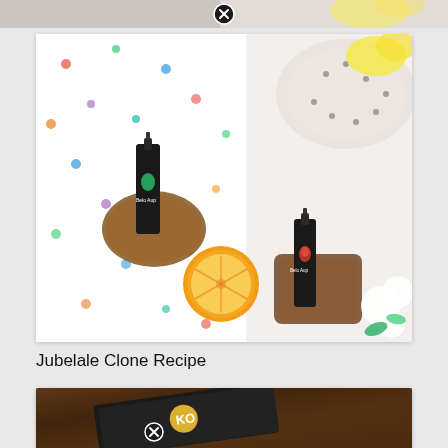[Figure (photo): Partial top strip showing cropped product/lifestyle photo]
[Figure (photo): Flat-lay lifestyle photo of two black spray bottles labeled 'Belo Aura' on wooden holders with polka-dot fabric, orange slice, and white flowers on white background]
Jubelale Clone Recipe
[Figure (photo): Partially visible bottom card showing a dark brown/wood surface with a black business card featuring a yellow logo, with a close button overlay]